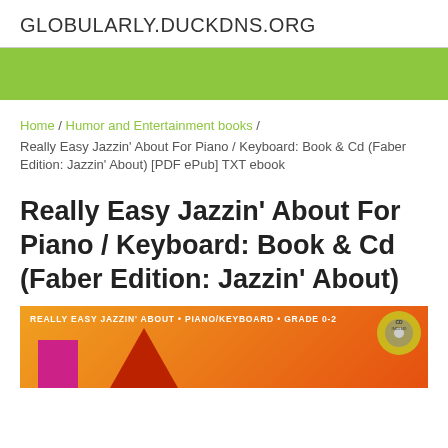GLOBULARLY.DUCKDNS.ORG
[Figure (other): Green banner/decorative bar]
Home / Humor and Entertainment books / Really Easy Jazzin' About For Piano / Keyboard: Book & Cd (Faber Edition: Jazzin' About) [PDF ePub] TXT ebook
Really Easy Jazzin' About For Piano / Keyboard: Book & Cd (Faber Edition: Jazzin' About)
[Figure (photo): Book cover for Really Easy Jazzin' About for Piano/Keyboard, Grade 0-2, orange and red gradient background with magenta square and red triangle shapes, CD included badge in top right corner, text: REALLY EASY JAZZIN' ABOUT • PIANO/KEYBOARD • GRADE 0-2]